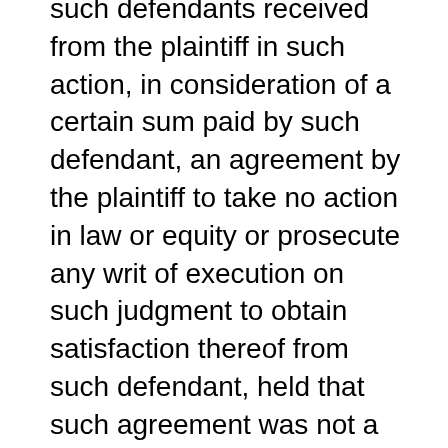such defendants received from the plaintiff in such action, in consideration of a certain sum paid by such defendant, an agreement by the plaintiff to take no action in law or equity or prosecute any writ of execution on such judgment to obtain satisfaction thereof from such defendant, held that such agreement was not a 'covenant not to sue' but was a release and payment of the judgment as against both defendants, notwithstanding such was not the intention of the parties as expressed
in such agreement." In my judgment there should be no distinction between the effect of a covenant not to sue a joint tortfeasor and a release of such a one, but